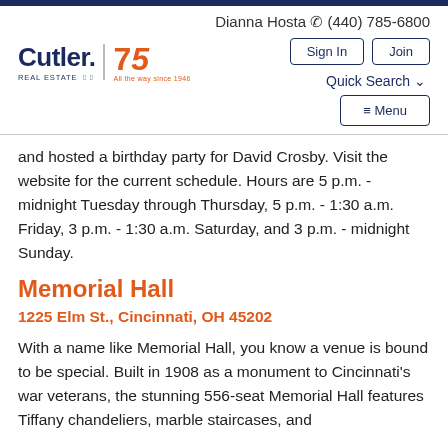Dianna Hosta ☎ (440) 785-6800
[Figure (logo): Cutler Real Estate logo with 75th anniversary mark]
and hosted a birthday party for David Crosby. Visit the website for the current schedule. Hours are 5 p.m. - midnight Tuesday through Thursday, 5 p.m. - 1:30 a.m. Friday, 3 p.m. - 1:30 a.m. Saturday, and 3 p.m. - midnight Sunday.
Memorial Hall
1225 Elm St., Cincinnati, OH 45202
With a name like Memorial Hall, you know a venue is bound to be special. Built in 1908 as a monument to Cincinnati's war veterans, the stunning 556-seat Memorial Hall features Tiffany chandeliers, marble staircases, and